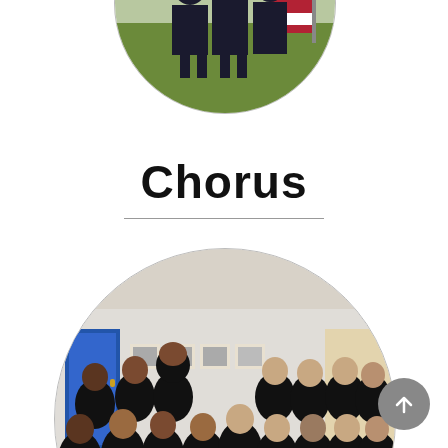[Figure (photo): Circular cropped photo at top of page showing people in formal/military attire standing in front of an American flag on a green lawn. Only the bottom portion of the circle is visible as it extends above the page boundary.]
Chorus
[Figure (photo): Circular cropped group photo of a chorus ensemble. A large group of students mostly in black formal dresses with one person in a tuxedo (bow tie) standing in the center. They are in what appears to be a school hallway or cafeteria with posters and a blue door in the background.]